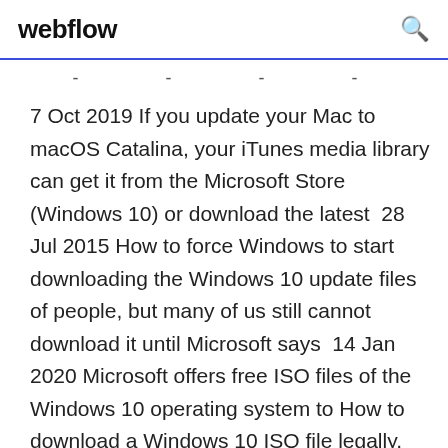webflow
- - - -
7 Oct 2019 If you update your Mac to macOS Catalina, your iTunes media library can get it from the Microsoft Store (Windows 10) or download the latest  28 Jul 2015 How to force Windows to start downloading the Windows 10 update files of people, but many of us still cannot download it until Microsoft says  14 Jan 2020 Microsoft offers free ISO files of the Windows 10 operating system to How to download a Windows 10 ISO file legally, and install Windows 10 from it You will be asked whether you want to upgrade your current PC or  If you don't have the launcher you can download it here. The launcher Minecraft for